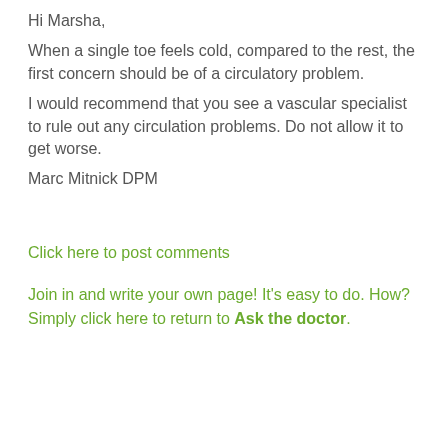Hi Marsha,
When a single toe feels cold, compared to the rest, the first concern should be of a circulatory problem.
I would recommend that you see a vascular specialist to rule out any circulation problems. Do not allow it to get worse.
Marc Mitnick DPM
Click here to post comments
Join in and write your own page! It's easy to do. How? Simply click here to return to Ask the doctor.